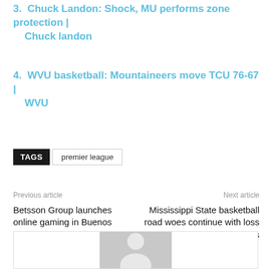3. Chuck Landon: Shock, MU performs zone protection | Chuck landon
4. WVU basketball: Mountaineers move TCU 76-67 | WVU
TAGS   premier league
Previous article
Betsson Group launches online gaming in Buenos Aires
Next article
Mississippi State basketball road woes continue with loss to Arkansas
[Figure (illustration): Grey placeholder avatar icon inside a bordered box]